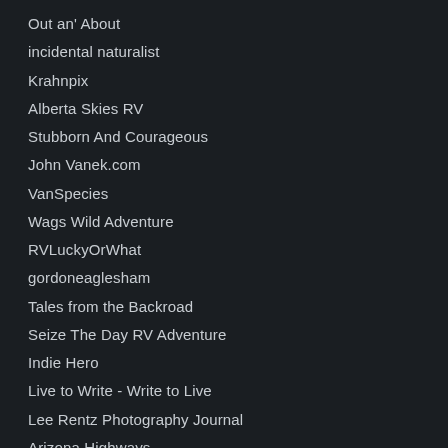Out an' About
incidental naturalist
Krahnpix
Alberta Skies RV
Stubborn And Courageous
John Vanek.com
VanSpecies
Wags Wild Adventure
RVLuckyOrWhat
gordoneaglesham
Tales from the Backroad
Seize The Day RV Adventure
Indie Hero
Live to Write - Write to Live
Lee Rentz Photography Journal
Arizona Highways
Travels with the Blonde Coyote
Jim Caffrey Images Photo Blog